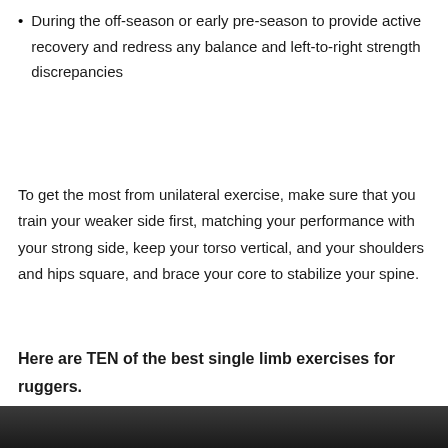During the off-season or early pre-season to provide active recovery and redress any balance and left-to-right strength discrepancies
To get the most from unilateral exercise, make sure that you train your weaker side first, matching your performance with your strong side, keep your torso vertical, and your shoulders and hips square, and brace your core to stabilize your spine.
Here are TEN of the best single limb exercises for ruggers.
[Figure (photo): Dark image at bottom of page, appears to be a gym or exercise setting, very dark/shadowy]